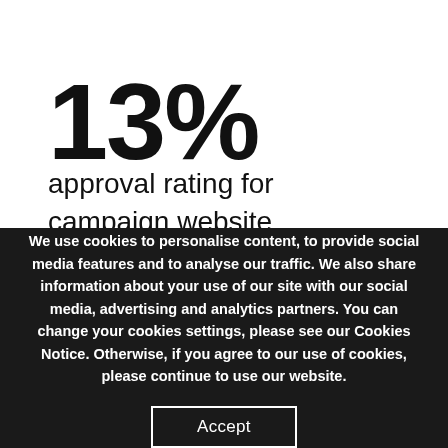13%
approval rating for campaign website
We use cookies to personalise content, to provide social media features and to analyse our traffic. We also share information about your use of our site with our social media, advertising and analytics partners. You can change your cookies settings, please see our Cookies Notice. Otherwise, if you agree to our use of cookies, please continue to use our website.
Accept